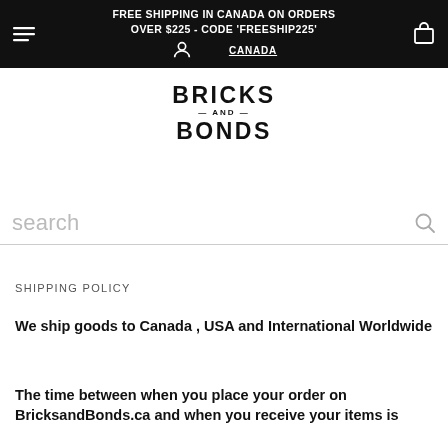FREE SHIPPING IN CANADA ON ORDERS OVER $225 - CODE 'FREESHIP225'
[Figure (logo): Bricks and Bonds logo — two lines: BRICKS and BONDS with -AND- between them in small text]
search
SHIPPING POLICY
We ship goods to Canada , USA and International Worldwide
The time between when you place your order on BricksandBonds.ca and when you receive your items is